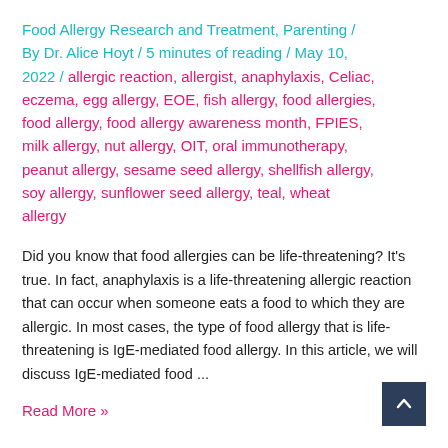Food Allergy Research and Treatment, Parenting / By Dr. Alice Hoyt / 5 minutes of reading / May 10, 2022 / allergic reaction, allergist, anaphylaxis, Celiac, eczema, egg allergy, EOE, fish allergy, food allergies, food allergy, food allergy awareness month, FPIES, milk allergy, nut allergy, OIT, oral immunotherapy, peanut allergy, sesame seed allergy, shellfish allergy, soy allergy, sunflower seed allergy, teal, wheat allergy
Did you know that food allergies can be life-threatening? It's true. In fact, anaphylaxis is a life-threatening allergic reaction that can occur when someone eats a food to which they are allergic. In most cases, the type of food allergy that is life-threatening is IgE-mediated food allergy. In this article, we will discuss IgE-mediated food ...
Read More »